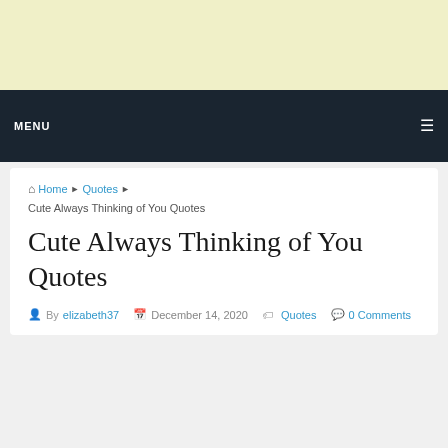[Figure (other): Advertisement banner with light yellow background]
MENU ☰
🏠 Home ▶ Quotes ▶ Cute Always Thinking of You Quotes
Cute Always Thinking of You Quotes
By elizabeth37  December 14, 2020  Quotes  0 Comments